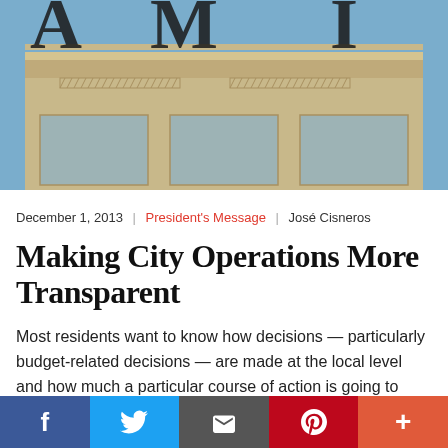[Figure (photo): Photograph of a city hall or government building facade with large letters visible at the top and classical architectural details including columns and windows]
December 1, 2013 | President's Message | José Cisneros
Making City Operations More Transparent
Most residents want to know how decisions — particularly budget-related decisions — are made at the local level and how much a particular course of action is going to cost the city and its